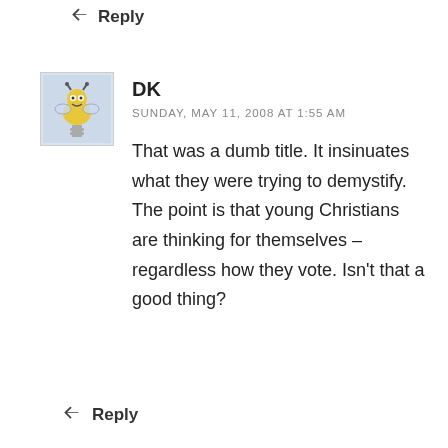↩ Reply
[Figure (illustration): Avatar/profile image: cartoon illustration of a yellow bee or bug character on a spring/coil, with small horns, on a light blue-gray background]
DK
SUNDAY, MAY 11, 2008 AT 1:55 AM
That was a dumb title. It insinuates what they were trying to demystify. The point is that young Christians are thinking for themselves – regardless how they vote. Isn't that a good thing?
↩ Reply